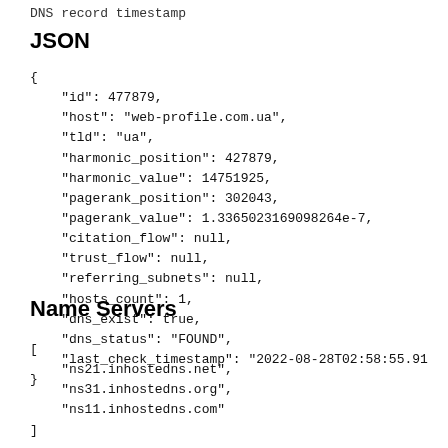DNS record timestamp
JSON
{
    "id": 477879,
    "host": "web-profile.com.ua",
    "tld": "ua",
    "harmonic_position": 427879,
    "harmonic_value": 14751925,
    "pagerank_position": 302043,
    "pagerank_value": 1.3365023169098264e-7,
    "citation_flow": null,
    "trust_flow": null,
    "referring_subnets": null,
    "hosts_count": 1,
    "dns_exist": true,
    "dns_status": "FOUND",
    "last_check_timestamp": "2022-08-28T02:58:55.91
}
Name Servers
[
    "ns21.inhostedns.net",
    "ns31.inhostedns.org",
    "ns11.inhostedns.com"
]